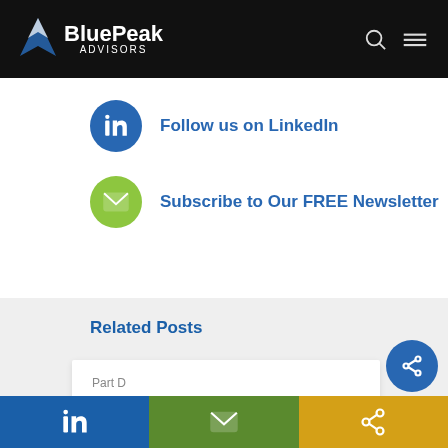[Figure (logo): BluePeak Advisors logo with mountain/peak icon in white on black header bar]
Follow us on LinkedIn
Subscribe to Our FREE Newsletter
Related Posts
Part D
CMS Continues to Scrutinize Part D Claims and Coverage...